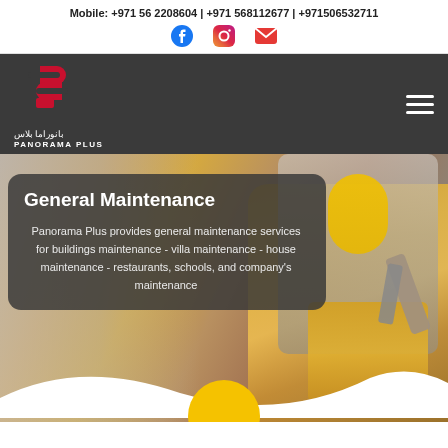Mobile: +971 56 2208604 | +971 568112677 | +971506532711
[Figure (logo): Panorama Plus logo with Arabic text بانوراما بلاس and English text PANORAMA PLUS, red double-C shaped icon on dark navigation bar]
General Maintenance
Panorama Plus provides general maintenance services for buildings maintenance - villa maintenance - house maintenance - restaurants, schools, and company's maintenance